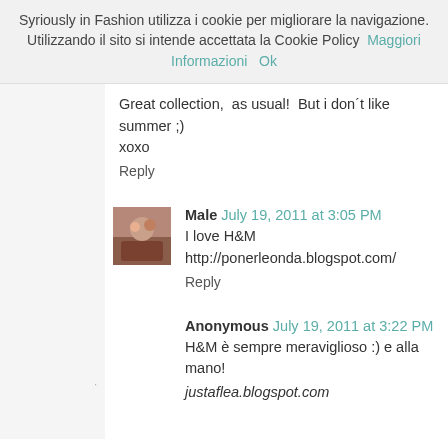Syriously in Fashion utilizza i cookie per migliorare la navigazione. Utilizzando il sito si intende accettata la Cookie Policy  Maggiori Informazioni    Ok
Great collection, as usual! But i don´t like summer ;)
xoxo
Reply
Male  July 19, 2011 at 3:05 PM
I love H&M
http://ponerleonda.blogspot.com/
Reply
Anonymous  July 19, 2011 at 3:22 PM
H&M è sempre meraviglioso :) e alla mano!
justaflea.blogspot.com